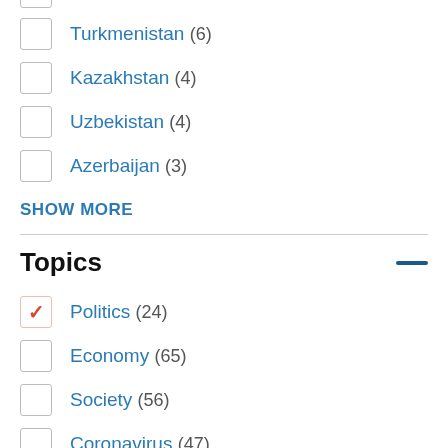Turkmenistan (6)
Kazakhstan (4)
Uzbekistan (4)
Azerbaijan (3)
SHOW MORE
Topics
Politics (24)
Economy (65)
Society (56)
Coronavirus (47)
Security (16)